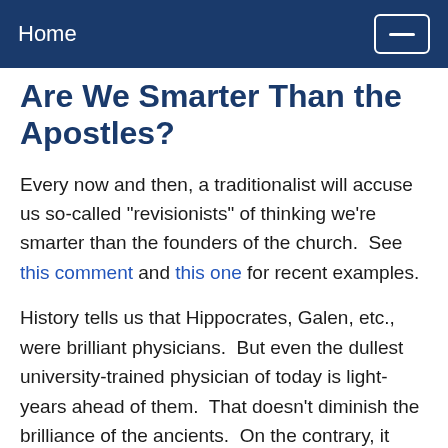Home
Are We Smarter Than the Apostles?
Every now and then, a traditionalist will accuse us so-called "revisionists" of thinking we're smarter than the founders of the church.  See this comment and this one for recent examples.
History tells us that Hippocrates, Galen, etc., were brilliant physicians.  But even the dullest university-trained physician of today is light-years ahead of them.  That doesn't diminish the brilliance of the ancients.  On the contrary, it glorifies God, who gave us the gift of being able to